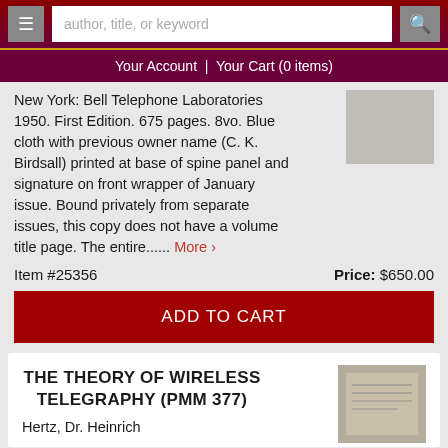author, title, or keyword | Your Account | Your Cart (0 items)
New York: Bell Telephone Laboratories 1950. First Edition. 675 pages. 8vo. Blue cloth with previous owner name (C. K. Birdsall) printed at base of spine panel and signature on front wrapper of January issue. Bound privately from separate issues, this copy does not have a volume title page. The entire..... More ›
Item #25356
Price: $650.00
ADD TO CART
THE THEORY OF WIRELESS TELEGRAPHY (PMM 377)
Hertz, Dr. Heinrich